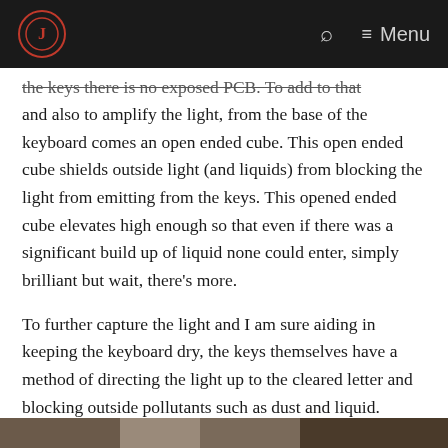Menu
the keys there is no exposed PCB. To add to that and also to amplify the light, from the base of the keyboard comes an open ended cube. This open ended cube shields outside light (and liquids) from blocking the light from emitting from the keys. This opened ended cube elevates high enough so that even if there was a significant build up of liquid none could enter, simply brilliant but wait, there's more.
To further capture the light and I am sure aiding in keeping the keyboard dry, the keys themselves have a method of directing the light up to the cleared letter and blocking outside pollutants such as dust and liquid.
[Figure (photo): Partial image visible at bottom of page]